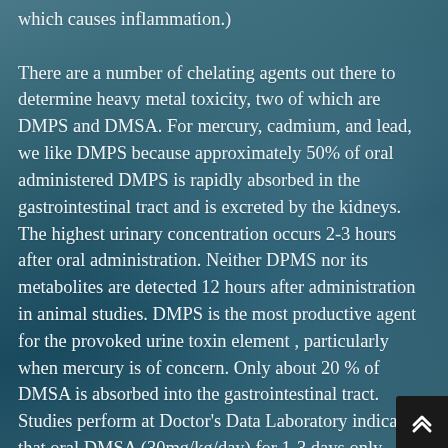which causes inflammation.) There are a number of chelating agents out there to determine heavy metal toxicity, two of which are DMPS and DMSA. For mercury, cadmium, and lead, we like DMPS because approximately 50% of oral administered DMPS is rapidly absorbed in the gastrointestinal tract and is excreted by the kidneys. The highest urinary concentration occurs 2-3 hours after oral administration. Neither DPMS nor its metabolites are detected 12 hours after administration in animal studies. DMPS is the most productive agent for the provoked urine toxin element , particularly when mercury is of concern. Only about 20 % of DMSA is absorbed into the gastrointestinal tract. Studies perform at Doctor's Data Laboratory indicate that oral DMSA (30mg/kg/day) for 1-3 days only yields about 1/5 to 1/10 of the amount of mercury in the urine as a